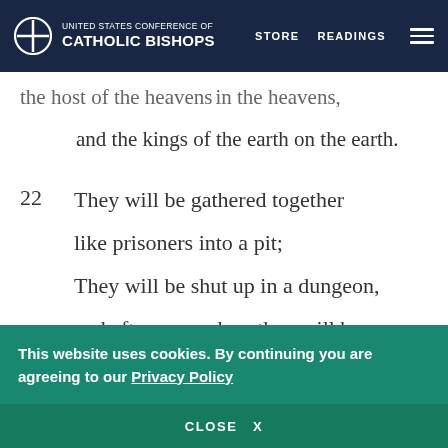UNITED STATES CONFERENCE OF CATHOLIC BISHOPS | STORE | READINGS
the host of the heavens in the heavens,
and the kings of the earth on the earth.
22  They will be gathered together
like prisoners into a pit;
They will be shut up in a dungeon,
and after many days they will be punished.q
This website uses cookies. By continuing you are agreeing to our Privacy Policy
CLOSE  X